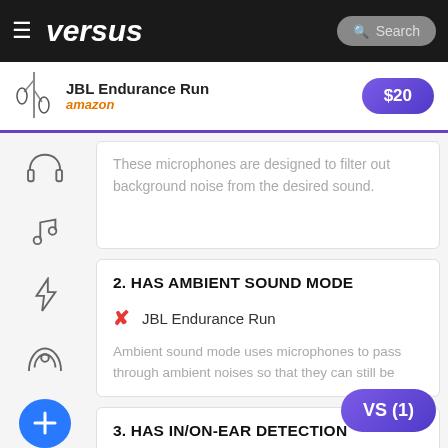versus | Search
[Figure (screenshot): Ad bar showing JBL Endurance Run earphones with Amazon logo and $20 price button]
These microphones are designed to filter out background noise from the desired sound.
2. HAS AMBIENT SOUND MODE
✗ JBL Endurance Run
Ambient sound mode uses microphones to pass through ambient noises so that they can still be
3. HAS IN/ON-EAR DETECTION
✗ JBL Endurance Run